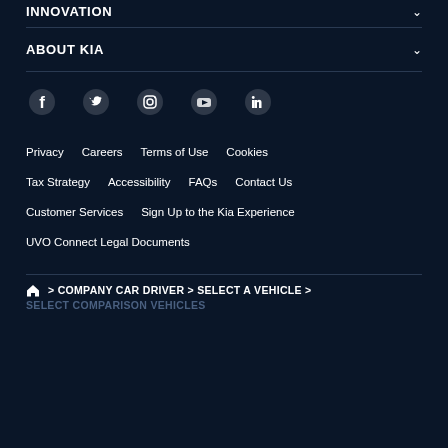INNOVATION
ABOUT KIA
[Figure (other): Row of social media icons: Facebook, Twitter, Instagram, YouTube, LinkedIn]
Privacy
Careers
Terms of Use
Cookies
Tax Strategy
Accessibility
FAQs
Contact Us
Customer Services
Sign Up to the Kia Experience
UVO Connect Legal Documents
🏠 > COMPANY CAR DRIVER > SELECT A VEHICLE > SELECT COMPARISON VEHICLES